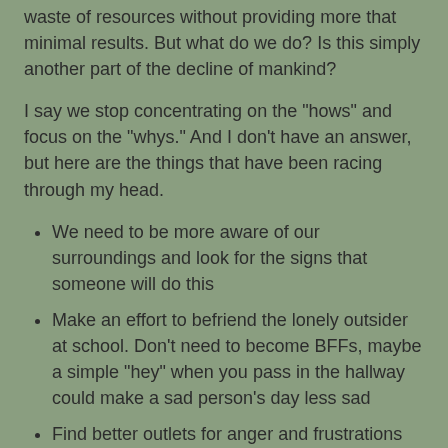waste of resources without providing more that minimal results. But what do we do? Is this simply another part of the decline of mankind?
I say we stop concentrating on the "hows" and focus on the "whys." And I don't have an answer, but here are the things that have been racing through my head.
We need to be more aware of our surroundings and look for the signs that someone will do this
Make an effort to befriend the lonely outsider at school. Don't need to become BFFs, maybe a simple "hey" when you pass in the hallway could make a sad person's day less sad
Find better outlets for anger and frustrations
Find the reason for the sadness and depression and confront it, instead of simply suppressing it with prescribed medication or self medicating
Are we really being desensitized by violent movies and video game? Maybe when junior